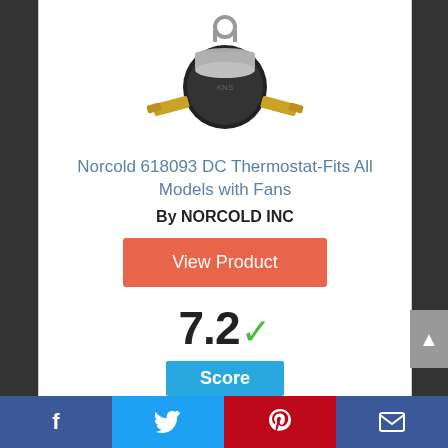[Figure (photo): Small round DC thermostat component with metal tabs (Norcold 618093), silver and black with gold-colored mounting tabs]
Norcold 618093 DC Thermostat-Fits All Models with Fans
By NORCOLD INC
View Product
7.2 ✓
Score
Facebook | Twitter | Pinterest | Email